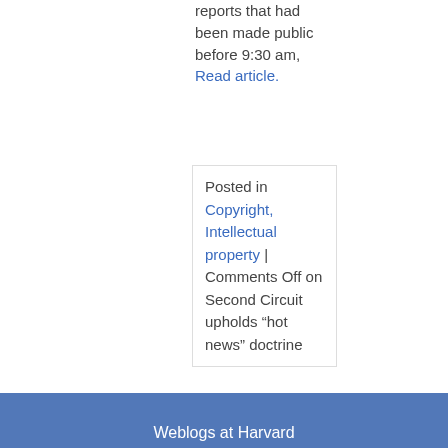reports that had been made public before 9:30 am, Read article.
Posted in Copyright, Intellectual property | Comments Off on Second Circuit upholds “hot news” doctrine
Weblogs at Harvard